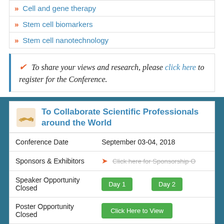» Cell and gene therapy
» Stem cell biomarkers
» Stem cell nanotechnology
✔ To share your views and research, please click here to register for the Conference.
To Collaborate Scientific Professionals around the World
|  |  |
| --- | --- |
| Conference Date | September 03-04, 2018 |
| Sponsors & Exhibitors | → Click here for Sponsorship O |
| Speaker Opportunity Closed | Day 1  Day 2 |
| Poster Opportunity Closed | Click Here to View |